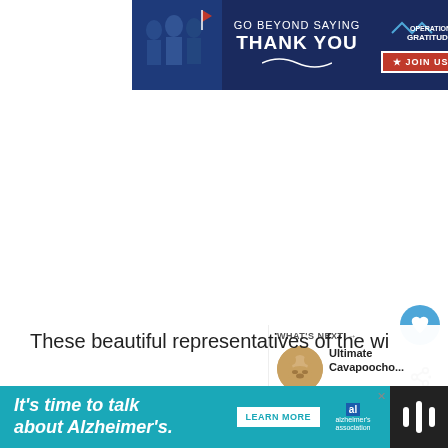[Figure (screenshot): Top banner advertisement: dark navy background with people image on left, text 'GO BEYOND SAYING THANK YOU' in white, Operation Gratitude logo and JOIN US button on right]
[Figure (screenshot): Heart (like) button — blue circular floating action button with heart icon]
[Figure (screenshot): Share button — light circular floating action button with share icon]
[Figure (screenshot): What's Next widget with thumbnail and title 'Ultimate Cavapoocho...']
These beautiful representatives of the wi... behind a legacy of work aptitude, but Ma... and Huskies can be aggressive toward other dogs
[Figure (screenshot): Bottom banner advertisement: teal background with text "It's time to talk about Alzheimer's.", LEARN MORE button, Alzheimer's Association logo, and dark right section with stylized W icon]